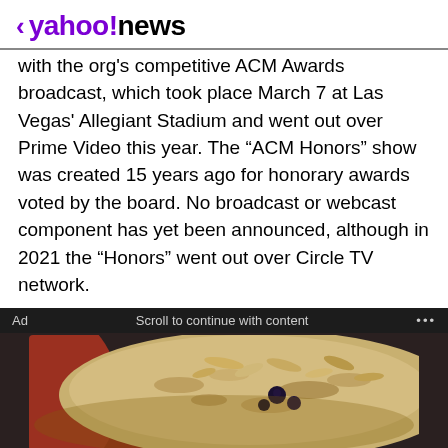< yahoo!news
with the org's competitive ACM Awards broadcast, which took place March 7 at Las Vegas' Allegiant Stadium and went out over Prime Video this year. The “ACM Honors” show was created 15 years ago for honorary awards voted by the board. No broadcast or webcast component has yet been announced, although in 2021 the “Honors” went out over Circle TV network.
Ad   Scroll to continue with content   ...
[Figure (photo): Close-up photo of oatmeal with nuts and blueberries in a red bowl]
Gundry MD Total Restore
If You Eat Oatmeal Every Day, This Is What